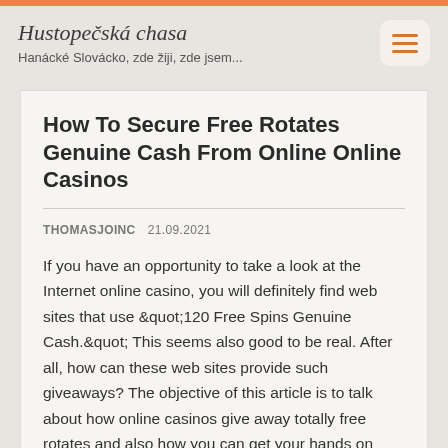Hustopečská chasa
Hanácké Slovácko, zde žiji, zde jsem...
How To Secure Free Rotates Genuine Cash From Online Online Casinos
THOMASJOINC   21.09.2021
If you have an opportunity to take a look at the Internet online casino, you will definitely find web sites that use &quot;120 Free Spins Genuine Cash.&quot; This seems also good to be real. After all, how can these web sites provide such giveaways? The objective of this article is to talk about how online casinos give away totally free rotates and also how you can get your hands on them.